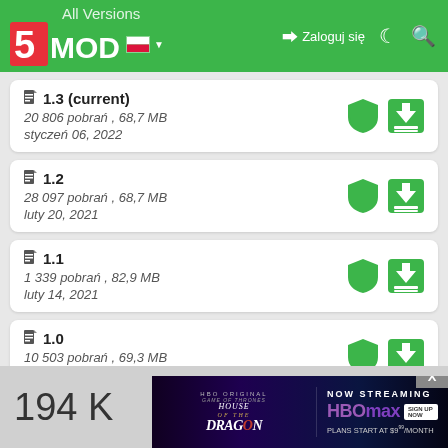5MODS - All Versions
1.3 (current)
20 806 pobrań , 68,7 MB
styczeń 06, 2022
1.2
28 097 pobrań , 68,7 MB
luty 20, 2021
1.1
1 339 pobrań , 82,9 MB
luty 14, 2021
1.0
10 503 pobrań , 69,3 MB
styczeń 15, 2021
194 K
[Figure (screenshot): Advertisement banner for House of the Dragon on HBO Max, showing 'NOW STREAMING HBOMAX SIGN UP NOW, PLANS START AT $9/MONTH']